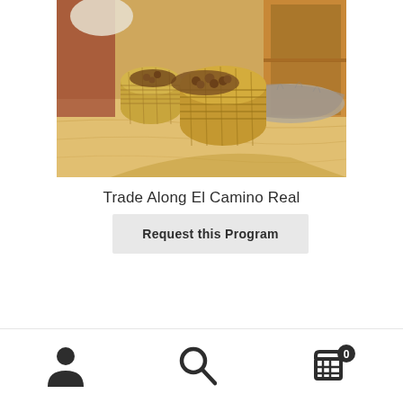[Figure (photo): Photo of woven baskets containing nuts on a wooden table with fur and a wooden shelf/cabinet background]
Trade Along El Camino Real
Request this Program
Showing 1–28 of 33 results